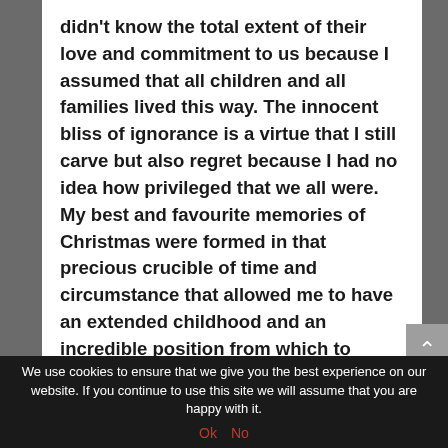didn't know the total extent of their love and commitment to us because I assumed that all children and all families lived this way. The innocent bliss of ignorance is a virtue that I still carve but also regret because I had no idea how privileged that we all were. My best and favourite memories of Christmas were formed in that precious crucible of time and circumstance that allowed me to have an extended childhood and an incredible position from which to launch the rest
We use cookies to ensure that we give you the best experience on our website. If you continue to use this site we will assume that you are happy with it.
Ok   No